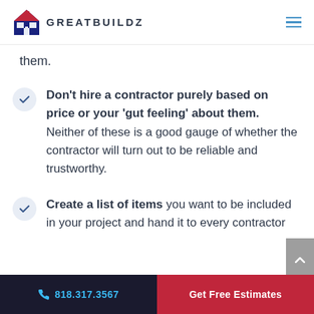GREATBUILDZ
them.
Don't hire a contractor purely based on price or your 'gut feeling' about them. Neither of these is a good gauge of whether the contractor will turn out to be reliable and trustworthy.
Create a list of items you want to be included in your project and hand it to every contractor
818.317.3567   Get Free Estimates